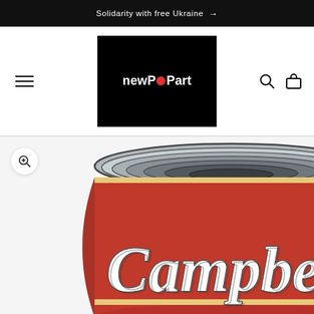Solidarity with free Ukraine →
[Figure (logo): newPOPart logo — black rectangle with white text 'newPOPart' and a red circle replacing the letter O]
[Figure (photo): Campbell's soup can pop art illustration — red can with silver lid and Campbell's script lettering, cropped showing top and label area]